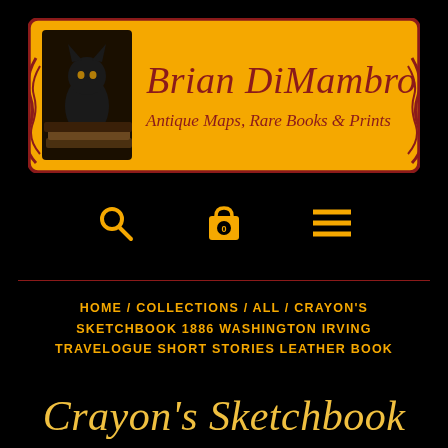[Figure (logo): Brian DiMambro Antique Maps, Rare Books & Prints logo banner on golden/amber background with dark red border, featuring a black cat silhouette and decorative script text]
[Figure (infographic): Navigation icons row: magnifying glass (search), shopping bag with '0' badge (cart), three horizontal lines (hamburger menu), all in golden/amber color on black background]
HOME / COLLECTIONS / ALL / CRAYON'S SKETCHBOOK 1886 WASHINGTON IRVING TRAVELOGUE SHORT STORIES LEATHER BOOK
Crayon's Sketchbook